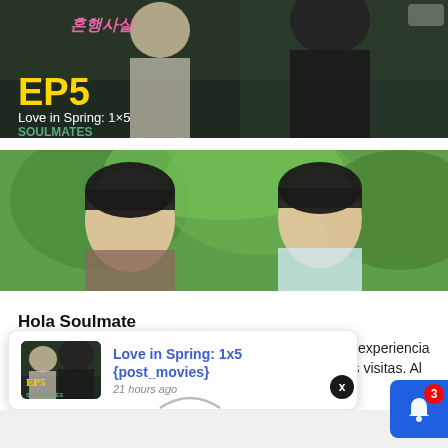[Figure (screenshot): Korean drama screenshot showing 'EP5' in yellow text with 'Love in Spring: 1x5' label and SOULMATES watermark. Dark-themed scene with figures in traditional Korean attire.]
[Figure (screenshot): Two young Asian men facing each other with green tree foliage background - appears to be a drama scene from 'Hola Soulmate'.]
Hola Soulmate
Usamos cookies en nuestro sitio web para brindarle la experiencia más relevante al recordar sus preferencias y repetir las visitas. Al hacer clic en "Aceptar", acepta el uso de
[Figure (screenshot): Notification popup showing 'Love in Spring: 1x5 {post_movies}' with thumbnail of EP5 scene, posted 21 hours ago. Blue bell notification button with badge '3' visible at bottom right.]